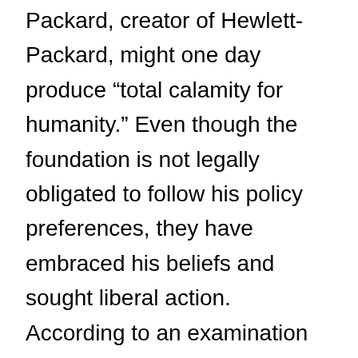Packard, creator of Hewlett-Packard, might one day produce “total calamity for humanity.” Even though the foundation is not legally obligated to follow his policy preferences, they have embraced his beliefs and sought liberal action. According to an examination of their financial filings, they have spent roughly $350 million on extending abortion access only in the previous five years.
The Packard Foundation has invested millions of dollars in anti-natalist organizations and businesses. The foundation was a crucial player in the deregulation battle that resulted in the FDA making it easier to obtain an abortion